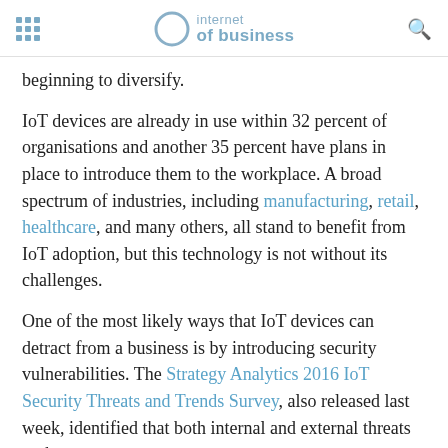internet of business
beginning to diversify.
IoT devices are already in use within 32 percent of organisations and another 35 percent have plans in place to introduce them to the workplace. A broad spectrum of industries, including manufacturing, retail, healthcare, and many others, all stand to benefit from IoT adoption, but this technology is not without its challenges.
One of the most likely ways that IoT devices can detract from a business is by introducing security vulnerabilities. The Strategy Analytics 2016 IoT Security Threats and Trends Survey, also released last week, identified that both internal and external threats rank